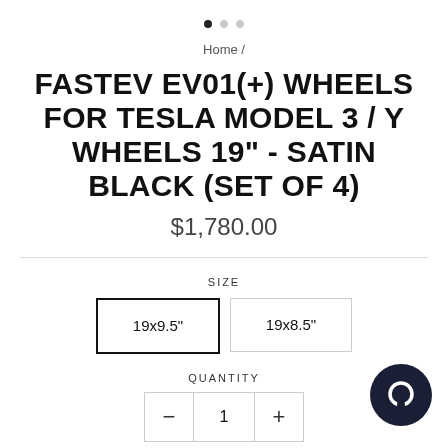[Figure (other): Image carousel pagination dots — one filled black dot and two grey dots]
Home /
FASTEV EV01(+) WHEELS FOR TESLA MODEL 3 / Y WHEELS 19" - SATIN BLACK (SET OF 4)
$1,780.00
SIZE
19x9.5"
19x8.5"
QUANTITY
1